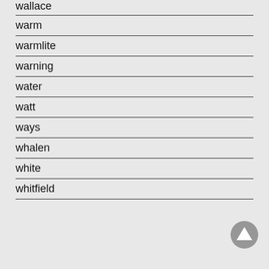wallace
warm
warmlite
warning
water
watt
ways
whalen
white
whitfield